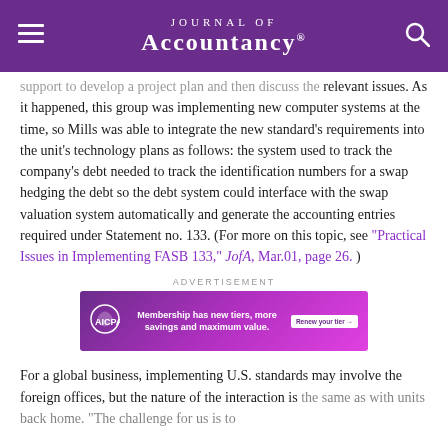Journal of Accountancy
support to develop a project plan and then discuss the relevant issues. As it happened, this group was implementing new computer systems at the time, so Mills was able to integrate the new standard's requirements into the unit's technology plans as follows: the system used to track the company's debt needed to track the identification numbers for a swap hedging the debt so the debt system could interface with the swap valuation system automatically and generate the accounting entries required under Statement no. 133. (For more on this topic, see “Practical Issues in Implementing FASB 133,” JofA, Mar.01, page 26. )
[Figure (other): AICPA advertisement banner: Membership has new tiers, more savings and maximum value. Renew your tier button.]
For a global business, implementing U.S. standards may involve the foreign offices, but the nature of the interaction is the same as with units back home. “The challenge for us is to